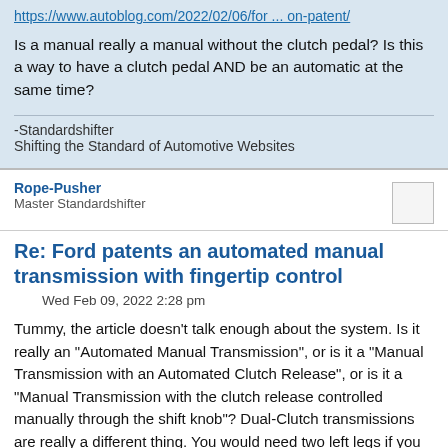https://www.autoblog.com/2022/02/06/for ... on-patent/
Is a manual really a manual without the clutch pedal? Is this a way to have a clutch pedal AND be an automatic at the same time?
-Standardshifter
Shifting the Standard of Automotive Websites
Rope-Pusher
Master Standardshifter
Re: Ford patents an automated manual transmission with fingertip control
Wed Feb 09, 2022 2:28 pm
Tummy, the article doesn't talk enough about the system. Is it really an "Automated Manual Transmission", or is it a "Manual Transmission with an Automated Clutch Release", or is it a "Manual Transmission with the clutch release controlled manually through the shift knob"? Dual-Clutch transmissions are really a different thing. You would need two left legs if you tried to drive them in a true Amish method (and two shift knobs)
If it is a conventional Amish transmission and only the clutch release system has been replaced with something that operates based on sensors in the shifter knob I don't know if that is such a hot idea. Besides one-